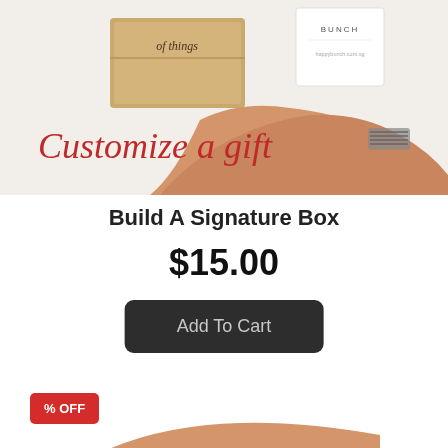[Figure (photo): A hand holding two gift boxes — a kraft brown box with 'of things' text and a white box with 'BUNCH' branding — with a red cursive 'Customize a gift' overlay text on a light background]
Build A Signature Box
$15.00
Add To Cart
% OFF
[Figure (photo): Partial view of a hand at the bottom of the page]